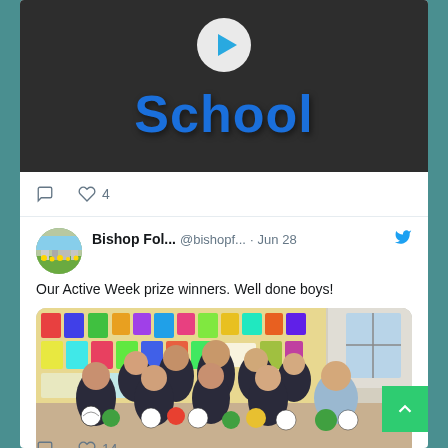[Figure (screenshot): Twitter/social media feed showing two tweets. First tweet shows a video thumbnail with dark background and the word 'School' in large blue bold text with a play button icon. Below are action icons with 4 likes. Second tweet from 'Bishop Fol...' @bishopf... dated Jun 28 with Twitter bird icon, text 'Our Active Week prize winners. Well done boys!' followed by a photo of boys in school uniforms holding footballs/balls in a classroom with a decorative bulletin board. Below are action icons with 14 likes. A green scroll-to-top arrow button is visible at the bottom right.]